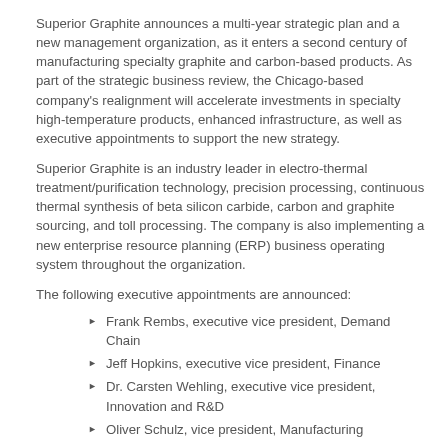Superior Graphite announces a multi-year strategic plan and a new management organization, as it enters a second century of manufacturing specialty graphite and carbon-based products. As part of the strategic business review, the Chicago-based company's realignment will accelerate investments in specialty high-temperature products, enhanced infrastructure, as well as executive appointments to support the new strategy.
Superior Graphite is an industry leader in electro-thermal treatment/purification technology, precision processing, continuous thermal synthesis of beta silicon carbide, carbon and graphite sourcing, and toll processing. The company is also implementing a new enterprise resource planning (ERP) business operating system throughout the organization.
The following executive appointments are announced:
Frank Rembs, executive vice president, Demand Chain
Jeff Hopkins, executive vice president, Finance
Dr. Carsten Wehling, executive vice president, Innovation and R&D
Oliver Schulz, vice president, Manufacturing
Andy Rill, vice president, Materials Management